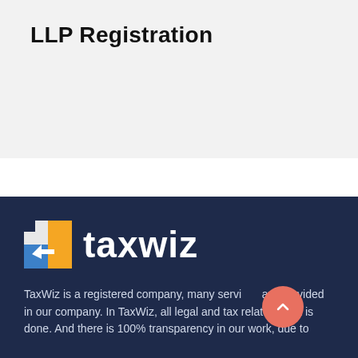LLP Registration
[Figure (logo): TaxWiz company logo with colorful square icon and white text on dark navy background]
TaxWiz is a registered company, many services are provided in our company. In TaxWiz, all legal and tax related work is done. And there is 100% transparency in our work, due to